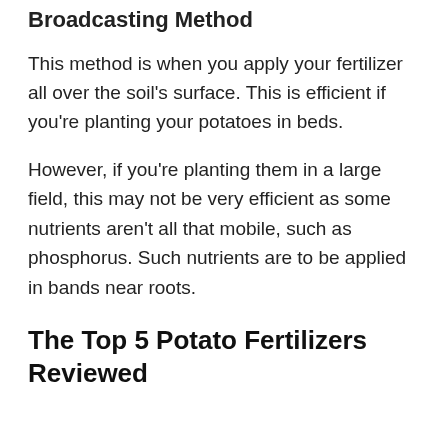Broadcasting Method
This method is when you apply your fertilizer all over the soil's surface. This is efficient if you're planting your potatoes in beds.
However, if you're planting them in a large field, this may not be very efficient as some nutrients aren't all that mobile, such as phosphorus. Such nutrients are to be applied in bands near roots.
The Top 5 Potato Fertilizers Reviewed